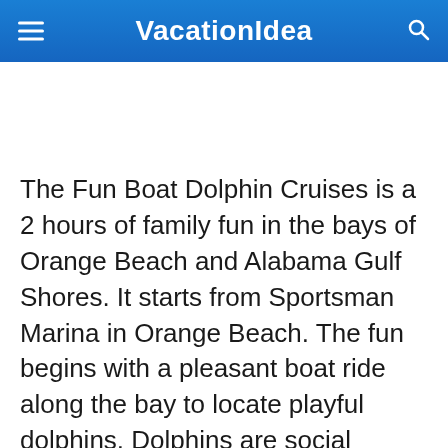VacationIdea
The Fun Boat Dolphin Cruises is a 2 hours of family fun in the bays of Orange Beach and Alabama Gulf Shores. It starts from Sportsman Marina in Orange Beach. The fun begins with a pleasant boat ride along the bay to locate playful dolphins. Dolphins are social creatures that always travel together with their families, so when you spot a pod of